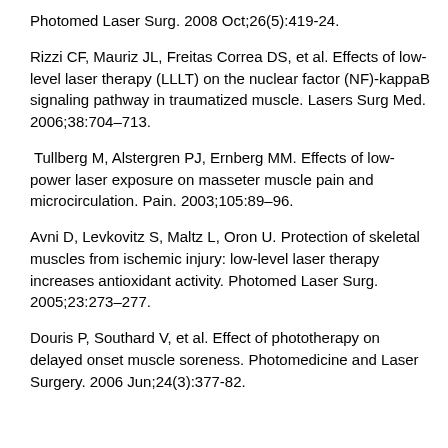Photomed Laser Surg. 2008 Oct;26(5):419-24.
Rizzi CF, Mauriz JL, Freitas Correa DS, et al. Effects of low-level laser therapy (LLLT) on the nuclear factor (NF)-kappaB signaling pathway in traumatized muscle. Lasers Surg Med. 2006;38:704–713.
Tullberg M, Alstergren PJ, Ernberg MM. Effects of low-power laser exposure on masseter muscle pain and microcirculation. Pain. 2003;105:89–96.
Avni D, Levkovitz S, Maltz L, Oron U. Protection of skeletal muscles from ischemic injury: low-level laser therapy increases antioxidant activity. Photomed Laser Surg. 2005;23:273–277.
Douris P, Southard V, et al. Effect of phototherapy on delayed onset muscle soreness. Photomedicine and Laser Surgery. 2006 Jun;24(3):377-82.